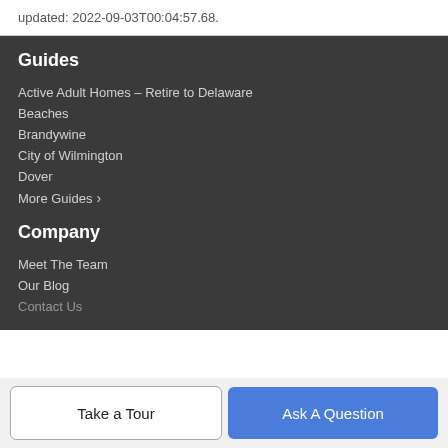updated: 2022-09-03T00:04:57.68.
Guides
Active Adult Homes – Retire to Delaware
Beaches
Brandywine
City of Wilmington
Dover
More Guides ›
Company
Meet The Team
Our Blog
Contact Us
Take a Tour
Ask A Question